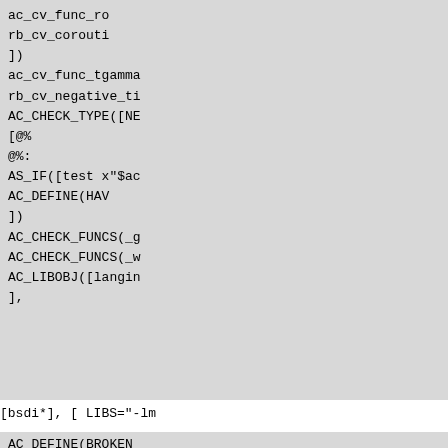ac_cv_func_ro
    rb_cv_corouti
])
ac_cv_func_tgamma
rb_cv_negative_ti
AC_CHECK_TYPE([NE
    [@%
    @%:
AS_IF([test x"$ac
    AC_DEFINE(HAV
])
AC_CHECK_FUNCS(_g
AC_CHECK_FUNCS(_w
AC_LIBOBJ([langin
],
[bsdi*], [ LIBS="-lm
AC_DEFINE(BROKEN